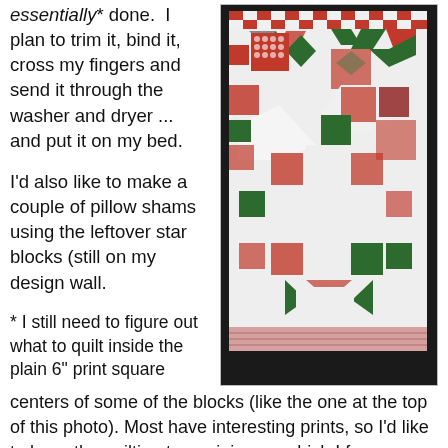essentially* done. I plan to trim it, bind it, cross my fingers and send it through the washer and dryer ... and put it on my bed.
I'd also like to make a couple of pillow shams using the leftover star blocks (still on my design wall.
[Figure (photo): Photo of a red, green and white star-pattern Christmas quilt laid out, showing multiple star quilt blocks with red and green fabric pieces on a white background, with a decorative red border strip at the bottom.]
* I still need to figure out what to quilt inside the plain 6" print square centers of some of the blocks (like the one at the top of this photo). Most have interesting prints, so I'd like to keep the quilting to a minimum, which I fear may be at odds with the wonky, bendy, sometimes pretty dense feathers which cover all the white areas of the quilt. I had a little brainstorm about it yesterday, but if you have a good idea, please suggest